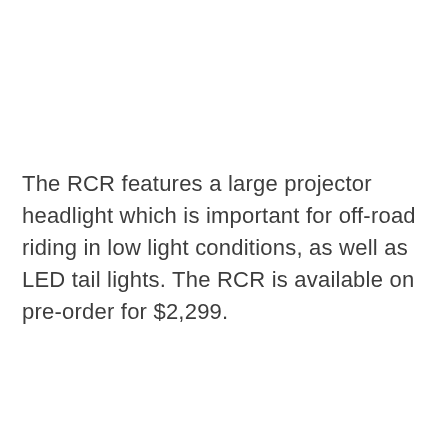The RCR features a large projector headlight which is important for off-road riding in low light conditions, as well as LED tail lights. The RCR is available on pre-order for $2,299.